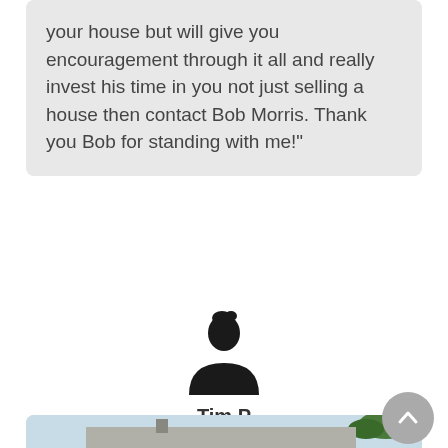your house but will give you encouragement through it all and really invest his time in you not just selling a house then contact Bob Morris. Thank you Bob for standing with me!"
[Figure (illustration): Silhouette avatar icon of a person (generic user profile image)]
Tim P
Indianapolis
[Figure (photo): Exterior photo of a small single-story house with a light gray roof, white/gray siding, front door with wooden deck steps, and trees visible in the background under a partly cloudy sky]